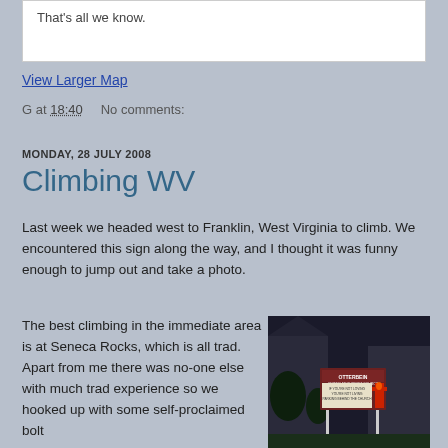That's all we know.
View Larger Map
G at 18:40   No comments:
MONDAY, 28 JULY 2008
Climbing WV
Last week we headed west to Franklin, West Virginia to climb. We encountered this sign along the way, and I thought it was funny enough to jump out and take a photo.
The best climbing in the immediate area is at Seneca Rocks, which is all trad. Apart from me there was no-one else with much trad experience so we hooked up with some self-proclaimed bolt
[Figure (photo): Night photo of Otterbein United Methodist Church sign reading 'IF YOU'RE NOT LOVING YOU'RE NOT LIVING PARKING BEHIND THE CHURCH']